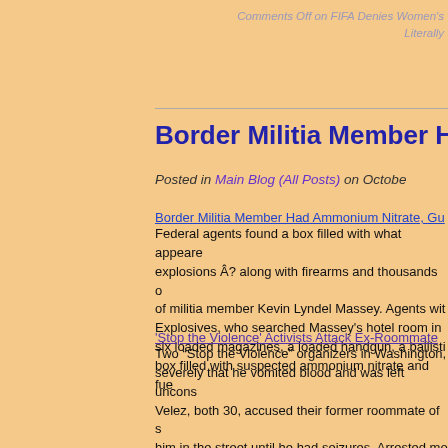Comments Off on FIFA Denies Women's Literally
Border Militia Member Had A
Posted in Main Blog (All Posts) on Octobe
Border Militia Member Had Ammonium Nitrate, Gu Federal agents found a box filled with what appeare explosions Â? along with firearms and thousands o of militia member Kevin Lyndel Massey. Agents wit Explosives, who searched Massey's hotel room in six loaded magazines, a loaded handgun, a ballisti box filled with suspected ammonium nitrate and fue
'Stop the Violence' Activists Attack Ex-Roommate Two "Stop the Violence" organizers in Washington, severely that he vomited blood and was left uncons Velez, both 30, accused their former roommate of s him in the street until he had seizures. Arrested mo Violence" T-shirt she had on the night before when shootings, Washington Police Chief Chris Luppino s